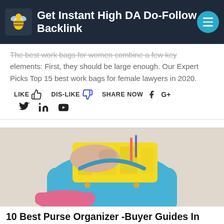Get Instant High DA Do-Follow Backlink
The best work bags for women combine a few key elements: First, they should be large enough. Our Expert Picks Top 15 best work bags for female lawyers in 2020.
[Figure (screenshot): Social sharing bar with LIKE (thumbs up), DIS-LIKE (thumbs down), SHARE NOW with Facebook and Google+ icons, and a second row with Twitter, LinkedIn, and YouTube icons]
[Figure (photo): Person organizing a colorful purse organizer inside a blue handbag, with yellow insert and various items visible]
10 Best Purse Organizer -Buyer Guides In 2020 [Expert Picks]
#PurseOrganizer #purse #purses #purseaddict #purselover #pursefemale #purseblog #pursebag